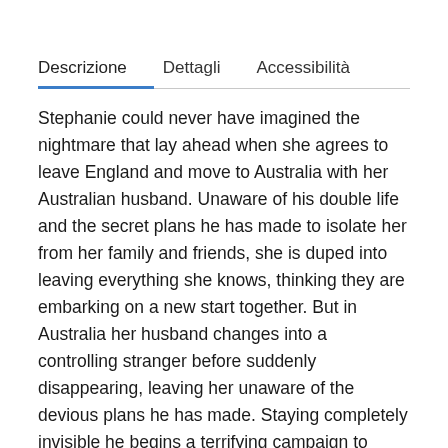Descrizione	Dettagli	Accessibilità
Stephanie could never have imagined the nightmare that lay ahead when she agrees to leave England and move to Australia with her Australian husband. Unaware of his double life and the secret plans he has made to isolate her from her family and friends, she is duped into leaving everything she knows, thinking they are embarking on a new start together. But in Australia her husband changes into a controlling stranger before suddenly disappearing, leaving her unaware of the devious plans he has made. Staying completely invisible he begins a terrifying campaign to force her into such a desperate situation that she will sign everything